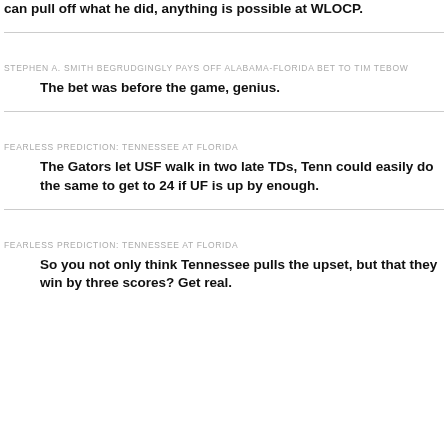can pull off what he did, anything is possible at WLOCP.
STEPHEN A. SMITH BEGRUDGINGLY PAYS OFF ALABAMA-FLORIDA BET TO TIM TEBOW
The bet was before the game, genius.
FEARLESS PREDICTION: TENNESSEE AT FLORIDA
The Gators let USF walk in two late TDs, Tenn could easily do the same to get to 24 if UF is up by enough.
FEARLESS PREDICTION: TENNESSEE AT FLORIDA
So you not only think Tennessee pulls the upset, but that they win by three scores? Get real.